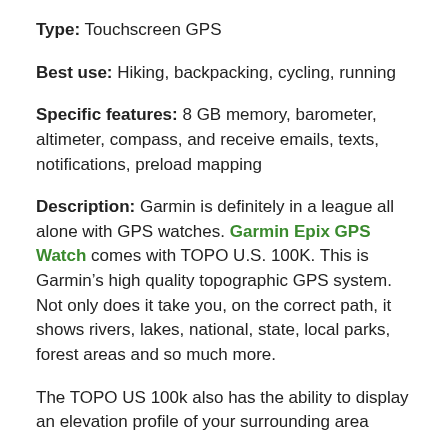Type: Touchscreen GPS
Best use: Hiking, backpacking, cycling, running
Specific features: 8 GB memory, barometer, altimeter, compass, and receive emails, texts, notifications, preload mapping
Description: Garmin is definitely in a league all alone with GPS watches. Garmin Epix GPS Watch comes with TOPO U.S. 100K. This is Garmin’s high quality topographic GPS system. Not only does it take you, on the correct path, it shows rivers, lakes, national, state, local parks, forest areas and so much more.
The TOPO US 100k also has the ability to display an elevation profile of your surrounding area